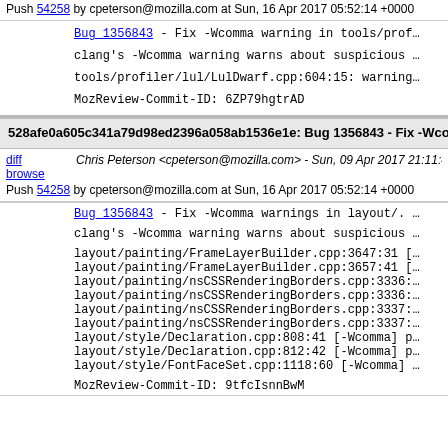Push 54258 by cpeterson@mozilla.com at Sun, 16 Apr 2017 05:52:14 +0000
Bug_1356843 - Fix -Wcomma warning in tools/prof…
clang's -Wcomma warning warns about suspicious …
tools/profiler/lul/LulDwarf.cpp:604:15: warning…
MozReview-Commit-ID: 6ZP79hgtrAD
528afe0a605c341a79d98ed2396a058ab1536e1e: Bug 1356843 - Fix -Wcomma warnings in layout/. r?dholbert [draft]
Chris Peterson <cpeterson@mozilla.com> - Sun, 09 Apr 2017 21:11:45 -0700 - rev 563347
Push 54258 by cpeterson@mozilla.com at Sun, 16 Apr 2017 05:52:14 +0000
Bug_1356843 - Fix -Wcomma warnings in layout/. …
clang's -Wcomma warning warns about suspicious …
layout/painting/FrameLayerBuilder.cpp:3647:31 […
layout/painting/FrameLayerBuilder.cpp:3657:41 […
layout/painting/nsCSSRenderingBorders.cpp:3336:…
layout/painting/nsCSSRenderingBorders.cpp:3336:…
layout/painting/nsCSSRenderingBorders.cpp:3337:…
layout/painting/nsCSSRenderingBorders.cpp:3337:…
layout/style/Declaration.cpp:808:41 [-Wcomma] p…
layout/style/Declaration.cpp:812:42 [-Wcomma] p…
layout/style/FontFaceSet.cpp:1118:60 [-Wcomma] …
MozReview-Commit-ID: 9tfcIsnnBwM